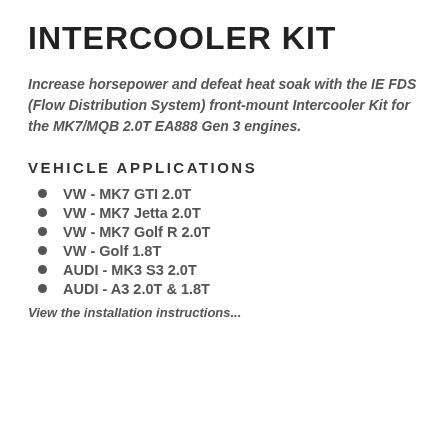INTERCOOLER KIT
Increase horsepower and defeat heat soak with the IE FDS (Flow Distribution System) front-mount Intercooler Kit for the MK7/MQB 2.0T EA888 Gen 3 engines.
VEHICLE APPLICATIONS
VW - MK7 GTI 2.0T
VW - MK7 Jetta 2.0T
VW - MK7 Golf R 2.0T
VW - Golf 1.8T
AUDI - MK3 S3 2.0T
AUDI - A3 2.0T & 1.8T
View the installation instructions...